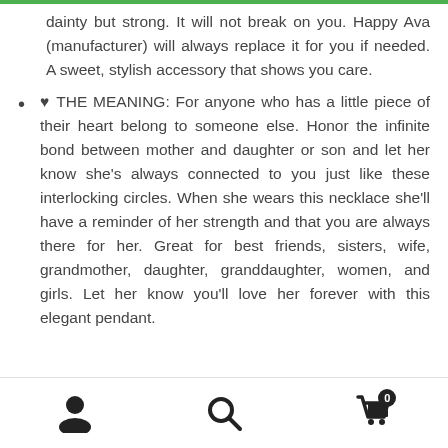dainty but strong. It will not break on you. Happy Ava (manufacturer) will always replace it for you if needed. A sweet, stylish accessory that shows you care.
♥ THE MEANING: For anyone who has a little piece of their heart belong to someone else. Honor the infinite bond between mother and daughter or son and let her know she's always connected to you just like these interlocking circles. When she wears this necklace she'll have a reminder of her strength and that you are always there for her. Great for best friends, sisters, wife, grandmother, daughter, granddaughter, women, and girls. Let her know you'll love her forever with this elegant pendant.